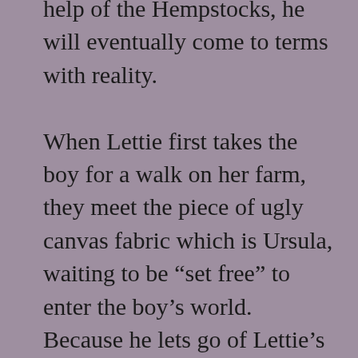help of the Hempstocks, he will eventually come to terms with reality.

When Lettie first takes the boy for a walk on her farm, they meet the piece of ugly canvas fabric which is Ursula, waiting to be “set free” to enter the boy’s world. Because he lets go of Lettie’s hand, the fabric is able to enter into the sole of his foot. Lettie has used a divining rod, and the two of them have found “something brown and furry, but flat, like a huge rug, flapping and curling at the edges, and, at the front of the rug, a mouth, filled with dozens of tiny sharp teeth, facing down”